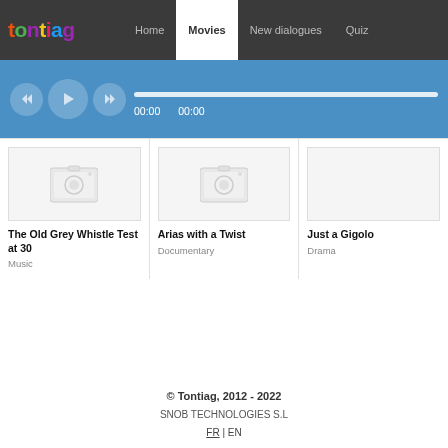[Figure (screenshot): Tontiag website navigation bar with colorful logo and menu items: Home, Movies (active), New dialogues, Quiz]
[Figure (screenshot): Audio player bar with rewind, play, fast-forward buttons and progress bar showing 00:00 / 00:00]
[Figure (screenshot): Movie thumbnail placeholder for The Old Grey Whistle Test at 30 (camera icon)]
The Old Grey Whistle Test at 30
Music
[Figure (screenshot): Movie thumbnail placeholder for Arias with a Twist (camera icon)]
Arias with a Twist
Documentary
Just a Gigolo
Drama
© Tontiag, 2012 - 2022
SNOB TECHNOLOGIES S.L
FR | EN